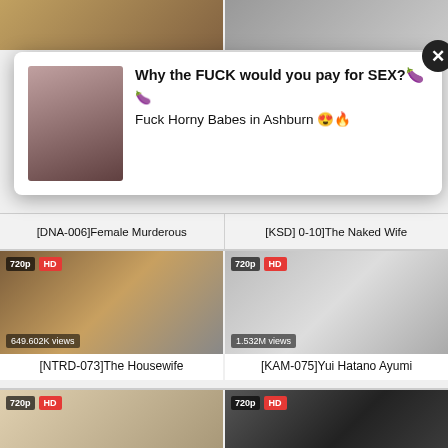[Figure (screenshot): Partially visible top row of video thumbnails showing adult content thumbnails with Japanese text]
[Figure (screenshot): Advertisement popup overlay with close button, thumbnail image, bold text 'Why the FUCK would you pay for SEX?' and 'Fuck Horny Babes in Ashburn']
[DNA-006]Female Murderous
[KSD] 0-10]The Naked Wife
[Figure (screenshot): Video thumbnail for NTRD-073 with 720p HD badge, 649.602K views label, Japanese adult content]
[NTRD-073]The Housewife
[Figure (screenshot): Video thumbnail for KAM-075 with 720p HD badge, 1.532M views label, Japanese adult content]
[KAM-075]Yui Hatano Ayumi
[Figure (screenshot): Video thumbnail for SDDE-542 with 720p HD badge, 1.253M views label, Japanese adult content]
[SDDE-542](The Secret)
[Figure (screenshot): Video thumbnail for NSPS-714 with 720p HD badge, 721.815K views label, Japanese adult content]
[NSPS-714]A Nagae Style